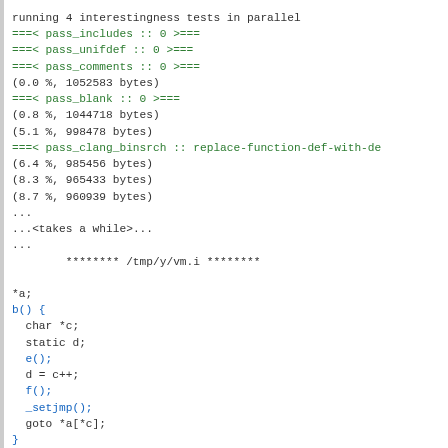running 4 interestingness tests in parallel
===< pass_includes :: 0 >===
===< pass_unifdef :: 0 >===
===< pass_comments :: 0 >===
(0.0 %, 1052583 bytes)
===< pass_blank :: 0 >===
(0.8 %, 1044718 bytes)
(5.1 %, 998478 bytes)
===< pass_clang_binsrch :: replace-function-def-with-de
(6.4 %, 985456 bytes)
(8.3 %, 965433 bytes)
(8.7 %, 960939 bytes)
...
...<takes a while>...
...
        ******** /tmp/y/vm.i ********

*a;
b() {
  char *c;
  static d;
  e();
  d = c++;
  f();
  _setjmp();
  goto *a[*c];
}

real      7m53,030s
user      19m0,687s